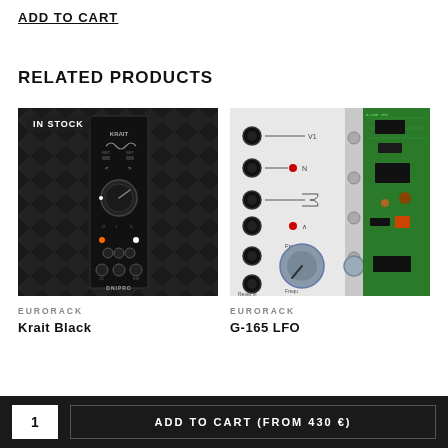ADD TO CART
RELATED PRODUCTS
[Figure (photo): Eurorack module 'Krait Black' by Dnipro, shown in stock, dark black panel with knobs and patch points against a dark textured background. IN STOCK badge visible top-left.]
EURORACK
Krait Black
[Figure (photo): Eurorack module showing white panel with multiple patch jacks and a large frequency knob, alongside a green PCB circuit board. Category: Eurorack.]
EURORACK
G-165 LFO
1
ADD TO CART (From 430 €)